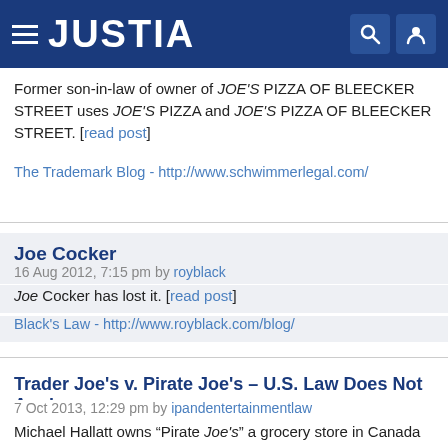JUSTIA
Former son-in-law of owner of JOE'S PIZZA OF BLEECKER STREET uses JOE'S PIZZA and JOE'S PIZZA OF BLEECKER STREET. [read post]
The Trademark Blog - http://www.schwimmerlegal.com/
Joe Cocker
16 Aug 2012, 7:15 pm by royblack
Joe Cocker has lost it. [read post]
Black's Law - http://www.royblack.com/blog/
Trader Joe's v. Pirate Joe's – U.S. Law Does Not Apply
7 Oct 2013, 12:29 pm by ipandentertainmentlaw
Michael Hallatt owns "Pirate Joe's" a grocery store in Canada that resells "Trader Joe's" branded (trademark